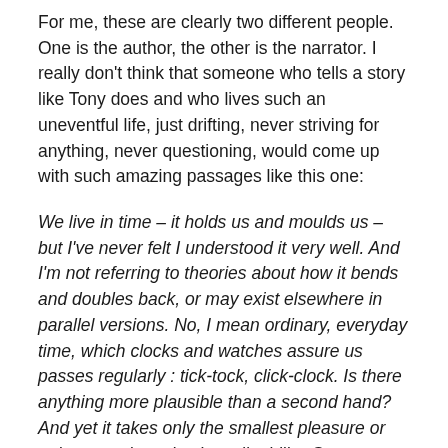For me, these are clearly two different people. One is the author, the other is the narrator. I really don't think that someone who tells a story like Tony does and who lives such an uneventful life, just drifting, never striving for anything, never questioning, would come up with such amazing passages like this one:
We live in time – it holds us and moulds us – but I've never felt I understood it very well. And I'm not referring to theories about how it bends and doubles back, or may exist elsewhere in parallel versions. No, I mean ordinary, everyday time, which clocks and watches assure us passes regularly : tick-tock, click-clock. Is there anything more plausible than a second hand? And yet it takes only the smallest pleasure or pain to teach us time's malleability. Some emotions speed it up, others slow it down; occasionally, it seems to go missing – until the